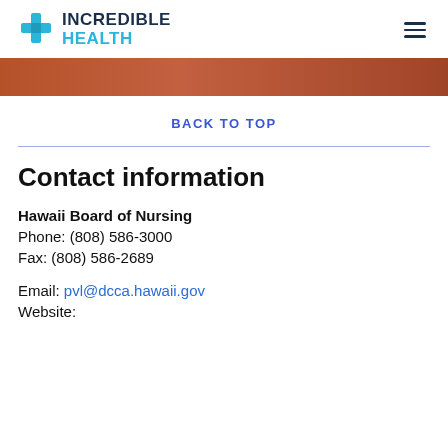[Figure (logo): Incredible Health logo with blue cross icon and two-tone text: INCREDIBLE in dark navy, HEALTH in light blue]
[Figure (photo): Narrow horizontal banner image showing a terracotta/rust-colored textured background]
BACK TO TOP
Contact information
Hawaii Board of Nursing
Phone: (808) 586-3000
Fax: (808) 586-2689
Email: pvl@dcca.hawaii.gov
Website: